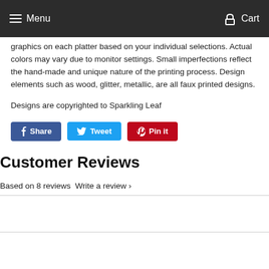Menu  Cart
graphics on each platter based on your individual selections. Actual colors may vary due to monitor settings. Small imperfections reflect the hand-made and unique nature of the printing process. Design elements such as wood, glitter, metallic, are all faux printed designs.
Designs are copyrighted to Sparkling Leaf
[Figure (other): Share, Tweet, and Pin it social media buttons]
Customer Reviews
Based on 8 reviews  Write a review ›